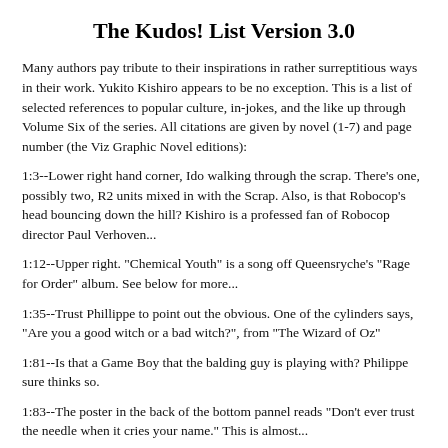The Kudos! List Version 3.0
Many authors pay tribute to their inspirations in rather surreptitious ways in their work. Yukito Kishiro appears to be no exception. This is a list of selected references to popular culture, in-jokes, and the like up through Volume Six of the series. All citations are given by novel (1-7) and page number (the Viz Graphic Novel editions):
1:3--Lower right hand corner, Ido walking through the scrap. There's one, possibly two, R2 units mixed in with the Scrap. Also, is that Robocop's head bouncing down the hill? Kishiro is a professed fan of Robocop director Paul Verhoven...
1:12--Upper right. "Chemical Youth" is a song off Queensryche's "Rage for Order" album. See below for more...
1:35--Trust Phillippe to point out the obvious. One of the cylinders says, "Are you a good witch or a bad witch?", from "The Wizard of Oz"
1:81--Is that a Game Boy that the balding guy is playing with? Philippe sure thinks so.
1:83--The poster in the back of the bottom pannel reads "Don't ever trust the needle when it cries your name." This is almost...